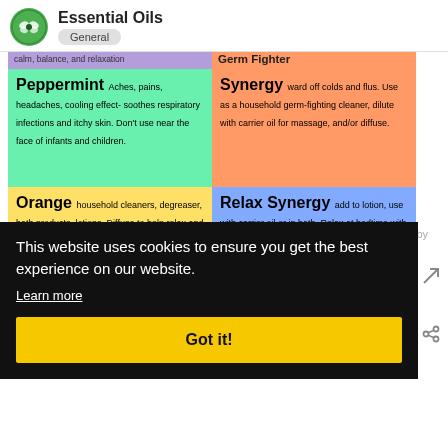Essential Oils — General
[Figure (infographic): Color-coded grid of essential oil descriptions: Peppermint (green), Orange (yellow), Germ Fighter Synergy (orange), Relax Synergy (blue), with top purple strip showing 'calm, balance, and relaxation']
This website uses cookies to ensure you get the best experience on our website.
Learn more
Got it!